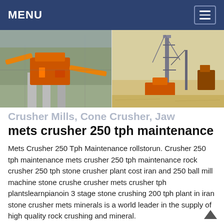MENU
[Figure (photo): Two photos of industrial crushing equipment at mining/construction sites — left shows an orange crusher mill with conveyor belts, right shows a tall drilling/excavation rig in a sandy outdoor environment.]
Crusher Mills, Cone Crusher, Jaw
mets crusher 250 tph maintenance
Mets Crusher 250 Tph Maintenance rollstorun. Crusher 250 tph maintenance mets crusher 250 tph maintenance rock crusher 250 tph stone crusher plant cost iran and 250 ball mill machine stone crushe crusher mets crusher tph plantslearnpianoin 3 stage stone crushing 200 tph plant in iran stone crusher mets minerals is a world leader in the supply of high quality rock crushing and mineral.